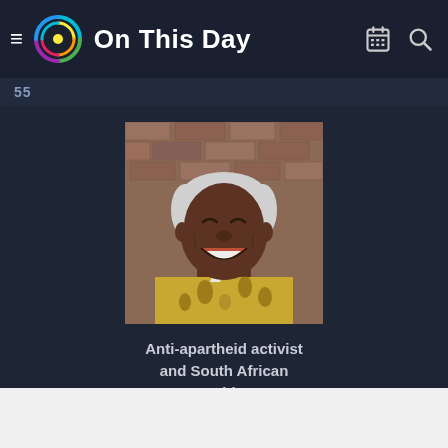On This Day
55
[Figure (photo): Photo of Nelson Mandela, an elderly man with white hair, smiling broadly, wearing a yellow floral patterned shirt, standing in front of a brick wall.]
Anti-apartheid activist and South African President
Nelson Mandela